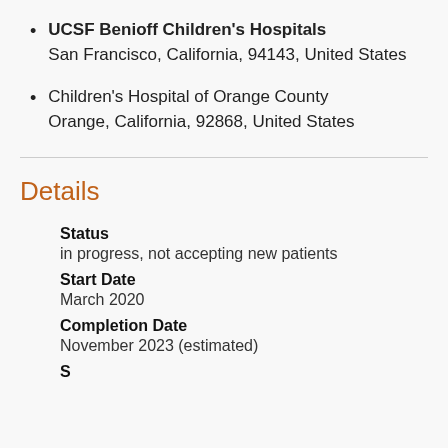UCSF Benioff Children's Hospitals
San Francisco, California, 94143, United States
Children's Hospital of Orange County
Orange, California, 92868, United States
Details
Status
in progress, not accepting new patients
Start Date
March 2020
Completion Date
November 2023 (estimated)